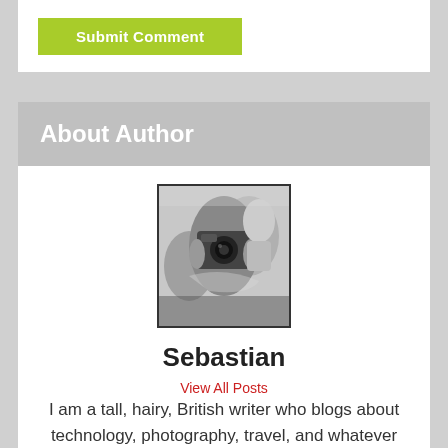Submit Comment
About Author
[Figure (photo): Black and white photograph of Sebastian, the author, holding a camera up to his face]
Sebastian
View All Posts
I am a tall, hairy, British writer who blogs about technology, photography, travel, and whatever else catches my eye.